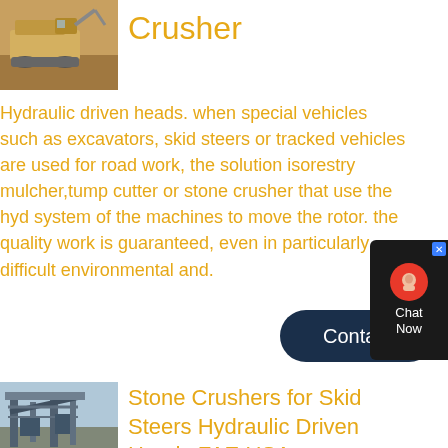[Figure (photo): A yellow crusher machine on rocky terrain, outdoor setting]
Crusher
Hydraulic driven heads. when special vehicles such as excavators, skid steers or tracked vehicles are used for road work, the solution isorestry mulcher,tump cutter or stone crusher that use the hyd system of the machines to move the rotor. the quality work is guaranteed, even in particularly difficult environmental and.
[Figure (screenshot): Chat now widget with red headset icon on dark background]
Contact
[Figure (photo): Industrial stone crusher facility with conveyor and structural framework]
Stone Crushers for Skid Steers Hydraulic Driven Heads FAE USA